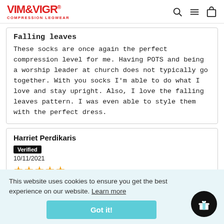VIM&VIGR COMPRESSION LEGWEAR
Falling leaves
These socks are once again the perfect compression level for me. Having POTS and being a worship leader at church does not typically go together. With you socks I'm able to do what I love and stay upright. Also, I love the falling leaves pattern. I was even able to style them with the perfect dress.
Harriet Perdikaris
Verified
10/11/2021
★★★★★
This website uses cookies to ensure you get the best experience on our website. Learn more
Got it!